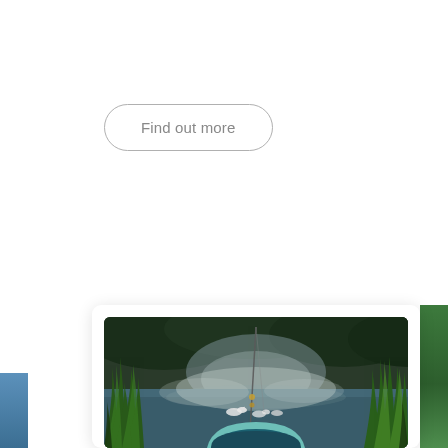Find out more
[Figure (photo): A misty lake scene with a fishing rod, reeds/tall grass in foreground, swans on water, dense trees in background with morning mist. A teal/dark blue menu badge with MENU text at the bottom center of the image. Blue water strip visible on far left, green foliage strip on far right.]